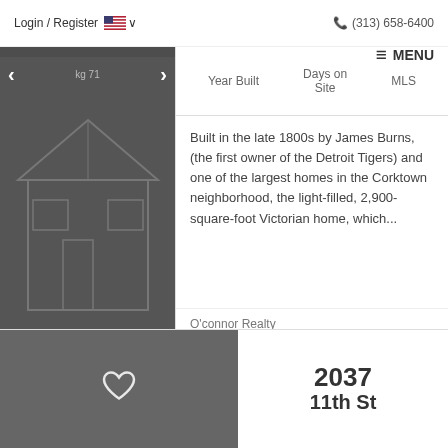Login / Register   (313) 658-6400
[Figure (logo): Berkshire Hathaway HomeServices The Loft Warehouse logo on dark sidebar]
Year Built  Days on Site  MLS
Built in the late 1800s by James Burns, (the first owner of the Detroit Tigers) and one of the largest homes in the Corktown neighborhood, the light-filled, 2,900-square-foot Victorian home, which...
O'connor Realty
2037
11th St